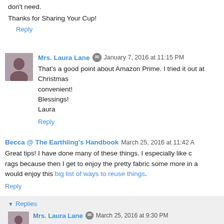don't need.
Thanks for Sharing Your Cup!
Reply
Mrs. Laura Lane  January 7, 2016 at 11:15 PM
That's a good point about Amazon Prime. I tried it out at Christmas and it was so convenient!
Blessings!
Laura
Reply
Becca @ The Earthling's Handbook  March 25, 2016 at 11:42 AM
Great tips! I have done many of these things. I especially like cutting up old clothes into rags because then I get to enjoy the pretty fabric some more in a useful way. You might also enjoy this big list of ways to reuse things.
Reply
Replies
Mrs. Laura Lane  March 25, 2016 at 9:30 PM